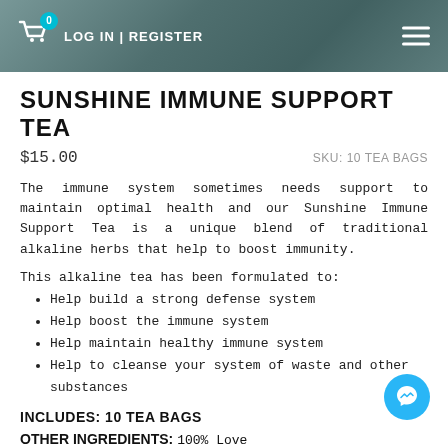LOG IN | REGISTER
SUNSHINE IMMUNE SUPPORT TEA
$15.00   SKU: 10 TEA BAGS
The immune system sometimes needs support to maintain optimal health and our Sunshine Immune Support Tea is a unique blend of traditional alkaline herbs that help to boost immunity.
This alkaline tea has been formulated to:
Help build a strong defense system
Help boost the immune system
Help maintain healthy immune system
Help to cleanse your system of waste and other substances
INCLUDES: 10 TEA BAGS
OTHER INGREDIENTS: 100% Love
Directions: Boil a half gallon of spring water and add the tea